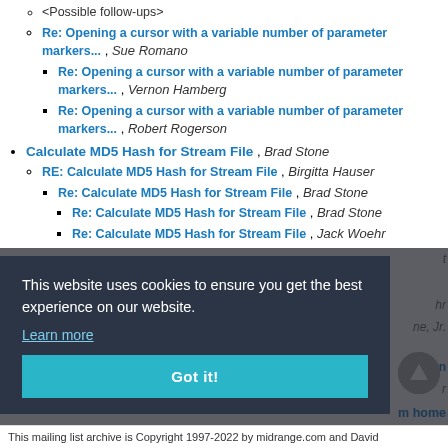<Possible follow-ups>
Re: Opening a cursor with a variable number of parameter markers... , Sue Romano
Re: Opening a cursor with a variable number of parameter markers... , Vernon Hamberg
Re: Opening a cursor with a variable number of parameter markers... , Robert Rogerson
Calculate MD5 Hash for Stream File , Brad Stone
RE: Calculate MD5 Hash for Stream File , Birgitta Hauser
Re: Calculate MD5 Hash for Stream File , Brad Stone
Re: Calculate MD5 Hash for Stream File , Brad Stone
Re: Calculate MD5 Hash for Stream File , Jack Woehr
[Figure (screenshot): Cookie consent banner overlay with dark background. Text: 'This website uses cookies to ensure you get the best experience on our website.' with 'Learn more' link and 'Got it!' button.]
This mailing list archive is Copyright 1997-2022 by midrange.com and David